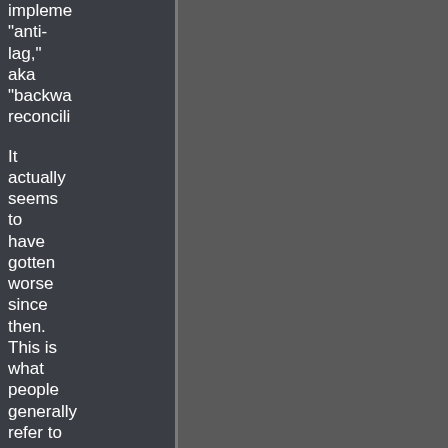impleme "anti-lag," aka "backwa reconcili
It actually seems to have gotten worse since then. This is what people generally refer to as "warp," but it accounts for a whole host of weird effects that